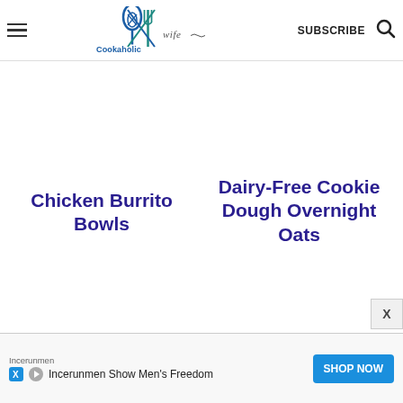Cookaholic Wife — COOK . BAKE . ENJOY | SUBSCRIBE
Chicken Burrito Bowls
Dairy-Free Cookie Dough Overnight Oats
Incerunmen — Incerunmen Show Men's Freedom | SHOP NOW